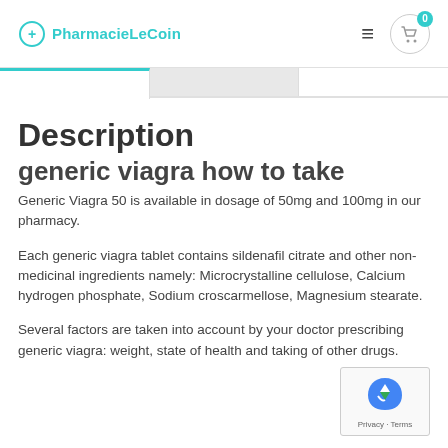PharmacieLeCoin
Description
generic viagra how to take
Generic Viagra 50 is available in dosage of 50mg and 100mg in our pharmacy.
Each generic viagra tablet contains sildenafil citrate and other non-medicinal ingredients namely: Microcrystalline cellulose, Calcium hydrogen phosphate, Sodium croscarmellose, Magnesium stearate.
Several factors are taken into account by your doctor prescribing generic viagra: weight, state of health and taking of other drugs.